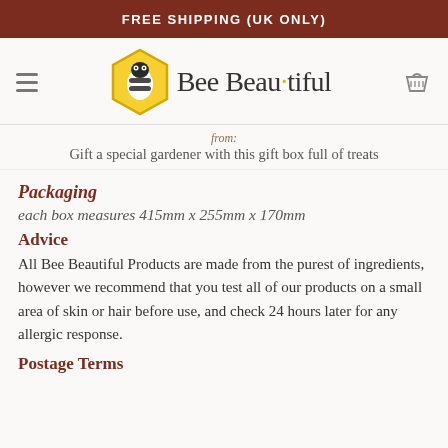FREE SHIPPING (UK ONLY)
[Figure (logo): Bee Beautiful logo with hexagonal bee icon and text 'Bee Beautiful']
from:
Gift a special gardener with this gift box full of treats
Packaging
each box measures 415mm x 255mm x 170mm
Advice
All Bee Beautiful Products are made from the purest of ingredients, however we recommend that you test all of our products on a small area of skin or hair before use, and check 24 hours later for any allergic response.
Postage Terms